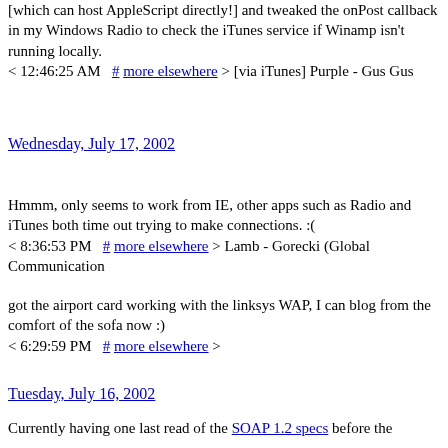[which can host AppleScript directly!] and tweaked the onPost callback in my Windows Radio to check the iTunes service if Winamp isn't running locally.
< 12:46:25 AM  # more elsewhere > [via iTunes] Purple - Gus Gus
Wednesday, July 17, 2002
Hmmm, only seems to work from IE, other apps such as Radio and iTunes both time out trying to make connections. :(
< 8:36:53 PM  # more elsewhere > Lamb - Gorecki (Global Communication
got the airport card working with the linksys WAP, I can blog from the comfort of the sofa now :)
< 6:29:59 PM  # more elsewhere >
Tuesday, July 16, 2002
Currently having one last read of the SOAP 1.2 specs before the